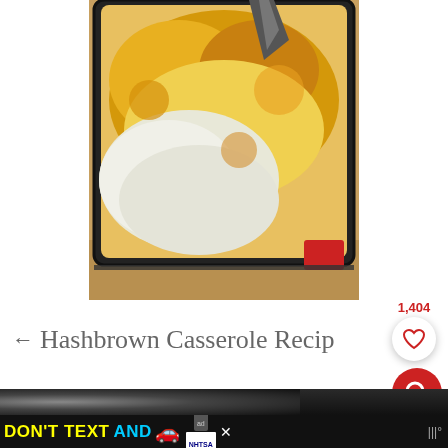[Figure (photo): Close-up photo of hashbrown casserole in a dark baking pan with melted golden cheese on top, being served with a spoon, sitting on a wooden board. Red accent visible on side of pan.]
← Hashbrown Casserole Recipe
1,404
[Figure (photo): Partial bottom strip photo showing dark background content]
DON'T TEXT AND [car emoji] ad NHTSA